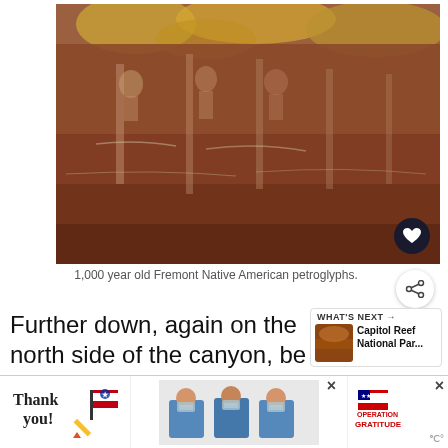[Figure (photo): 1,000 year old Fremont Native American petroglyphs carved into a reddish-brown canyon rock face with yellow mineral deposits at top.]
1,000 year old Fremont Native American petroglyphs.
Further down, again on the north side of the canyon, be on the lookout for more inscriptions in the stone. These, however, are a little more fresh
[Figure (photo): What's Next thumbnail showing Capitol Reef National Park]
[Figure (photo): Advertisement banner: Thank you note with Operation Gratitude branding featuring healthcare workers]